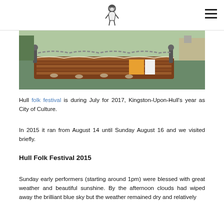[Figure (photo): Photograph of wooden boats with ropes and chains at a marina or dock, with colorful features visible.]
Hull folk festival is during July for 2017, Kingston-Upon-Hull's year as City of Culture.
In 2015 it ran from August 14 until Sunday August 16 and we visited briefly.
Hull Folk Festival 2015
Sunday early performers (starting around 1pm) were blessed with great weather and beautiful sunshine. By the afternoon clouds had wiped away the brilliant blue sky but the weather remained dry and relatively